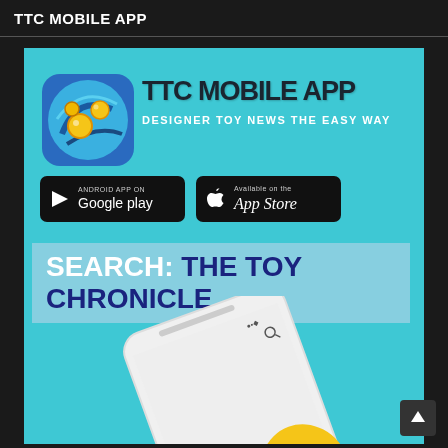TTC MOBILE APP
[Figure (infographic): TTC Mobile App advertisement on cyan/teal background. Shows app icon (blue swirl with yellow orbs), TTC Mobile App logo in dark gothic font, subtitle 'DESIGNER TOY NEWS THE EASY WAY', Google Play and App Store download buttons, 'SEARCH: THE TOY CHRONICLE' call-to-action bar, and a white smartphone image at the bottom.]